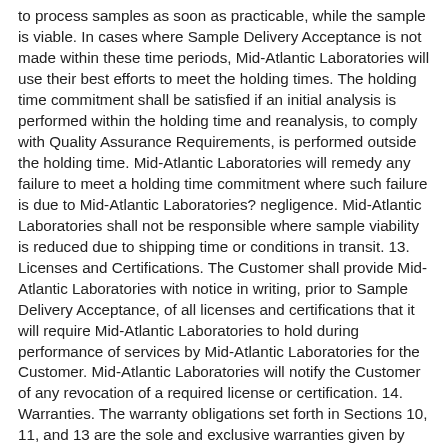to process samples as soon as practicable, while the sample is viable. In cases where Sample Delivery Acceptance is not made within these time periods, Mid-Atlantic Laboratories will use their best efforts to meet the holding times. The holding time commitment shall be satisfied if an initial analysis is performed within the holding time and reanalysis, to comply with Quality Assurance Requirements, is performed outside the holding time. Mid-Atlantic Laboratories will remedy any failure to meet a holding time commitment where such failure is due to Mid-Atlantic Laboratories? negligence. Mid-Atlantic Laboratories shall not be responsible where sample viability is reduced due to shipping time or conditions in transit. 13. Licenses and Certifications. The Customer shall provide Mid-Atlantic Laboratories with notice in writing, prior to Sample Delivery Acceptance, of all licenses and certifications that it will require Mid-Atlantic Laboratories to hold during performance of services by Mid-Atlantic Laboratories for the Customer. Mid-Atlantic Laboratories will notify the Customer of any revocation of a required license or certification. 14. Warranties. The warranty obligations set forth in Sections 10, 11, and 13 are the sole and exclusive warranties given by Mid-Atlantic Laboratories in connection with any services performed by Mid-Atlantic Laboratories or any Results generated from such services, and Mid-Atlantic Laboratories gives and makes NO OTHER REPRESENTATION OR WARRANTY OF ANY KIND, EXPRESS OR IMPLIED. No representative of Mid-Atlantic Laboratories is authorized to give or make any other representation or warranty or modify this warranty in any way. 15. Remedy. Customer's sole and exclusive remedy for the breach of warranty in connection with any services performed by Mid-Atlantic Laboratories, will be limited to repeating any services performed.